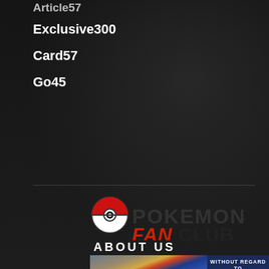Exclusive300
Card57
Go45
[Figure (logo): Pokemon Fan Club logo with Pokeball icon, 'POKEMON' in dark grey uppercase bold text, and 'FAN' in red italic bold, 'CLUB' in dark bold uppercase]
ABOUT US
[Figure (photo): Advertisement banner showing cargo planes and aircraft at airport with text 'WITHOUT REGARD TO' on a dark blue background on the right side]